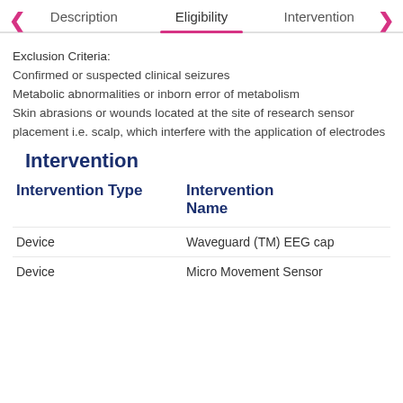Description | Eligibility | Intervention
Exclusion Criteria:
Confirmed or suspected clinical seizures
Metabolic abnormalities or inborn error of metabolism
Skin abrasions or wounds located at the site of research sensor placement i.e. scalp, which interfere with the application of electrodes
Intervention
| Intervention Type | Intervention Name |
| --- | --- |
| Device | Waveguard (TM) EEG cap |
| Device | Micro Movement Sensor |